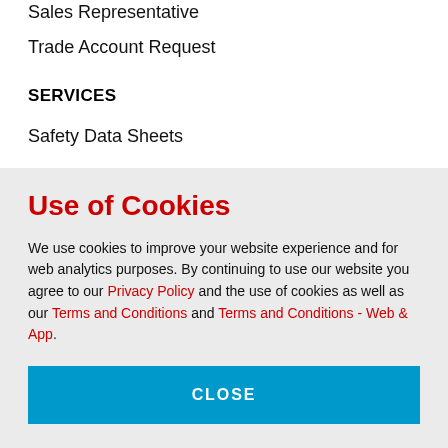Sales Representative
Trade Account Request
SERVICES
Safety Data Sheets
Inventory & Stock Management
C-Part Management
E-Business Solutions
E-Statements & Invoices
E-Payments
Use of Cookies
We use cookies to improve your website experience and for web analytics purposes. By continuing to use our website you agree to our Privacy Policy and the use of cookies as well as our Terms and Conditions and Terms and Conditions - Web & App.
CLOSE